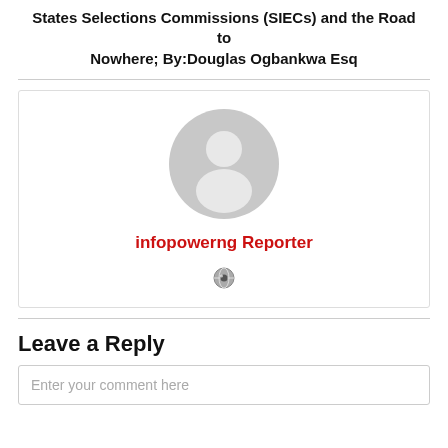States Selections Commissions (SIECs) and the Road to Nowhere; By:Douglas Ogbankwa Esq
[Figure (illustration): Author profile card with a grey default avatar icon, red bold text 'infopowerng Reporter', and a small globe/website icon below.]
Leave a Reply
Enter your comment here